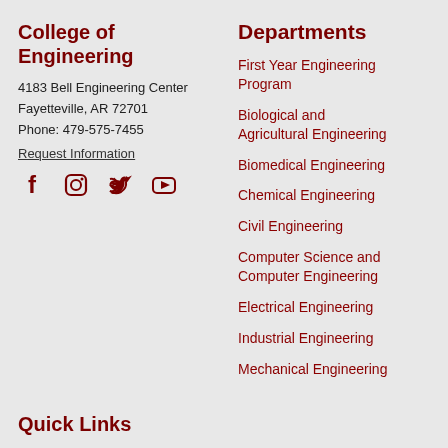College of Engineering
4183 Bell Engineering Center
Fayetteville, AR 72701
Phone: 479-575-7455
Request Information
[Figure (other): Social media icons: Facebook, Instagram, Twitter, YouTube]
Departments
First Year Engineering Program
Biological and Agricultural Engineering
Biomedical Engineering
Chemical Engineering
Civil Engineering
Computer Science and Computer Engineering
Electrical Engineering
Industrial Engineering
Mechanical Engineering
Quick Links
First Year Engineering Program